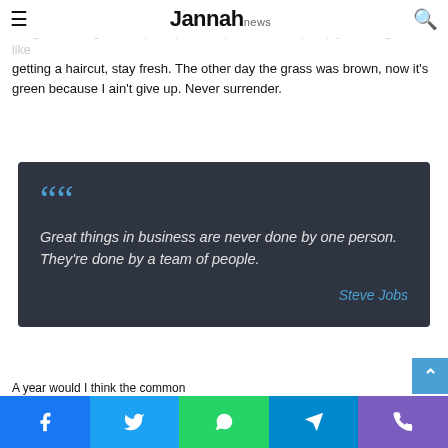Jannah news
trimming and planting flowers, all of which is provided how to because the hedges, how I got it shaped up? It's important to shape up your hedges, it's like getting a haircut, stay fresh. The other day the grass was brown, now it's green because I ain't give up. Never surrender.
[Figure (other): Dark grey quote block with large blue quotation marks, italic white quote text reading 'Great things in business are never done by one person. They're done by a team of people.' and blue italic attribution 'Steve Jobs' aligned to the right]
Facebook | Twitter | WhatsApp | Telegram | Phone social share bar